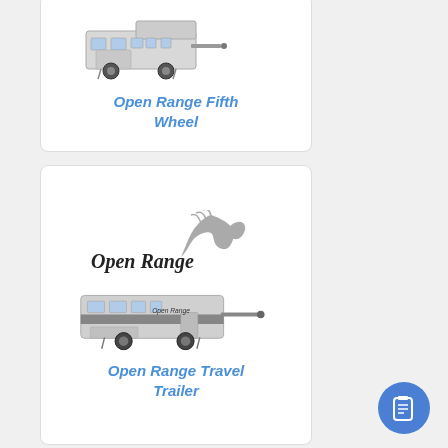[Figure (illustration): Card showing a fifth wheel RV trailer illustration with 'Open Range Fifth Wheel' title in blue italic bold text]
[Figure (illustration): Card showing the Open Range logo (horse head graphic with cursive text) and a travel trailer RV illustration with 'Open Range Travel Trailer' title in blue italic bold text]